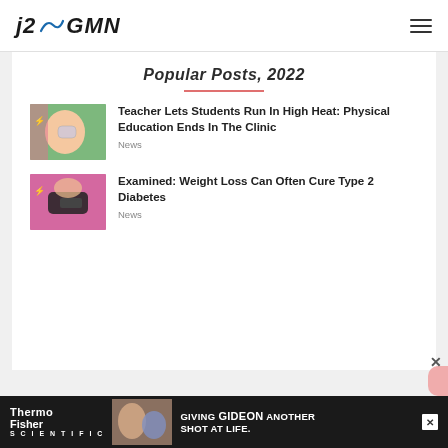j2GMN
Popular Posts, 2022
[Figure (photo): Child drinking water from a bottle outdoors in high heat, green background]
Teacher Lets Students Run In High Heat: Physical Education Ends In The Clinic
News
[Figure (photo): Person in pink shirt checking blood glucose with a glucose meter on their wrist]
Examined: Weight Loss Can Often Cure Type 2 Diabetes
News
[Figure (advertisement): ThermoFisher Scientific advertisement: Giving GIDEON Another Shot At Life]